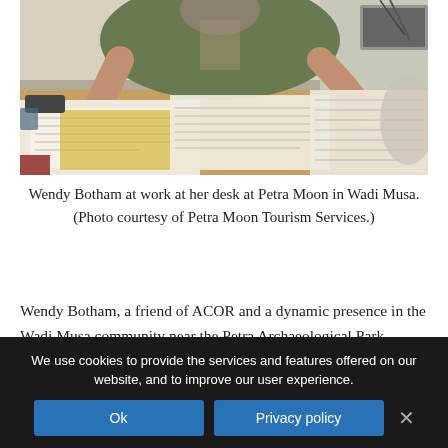[Figure (photo): Wendy Botham at work at her desk at Petra Moon in Wadi Musa, sitting at a desk covered in papers and documents, writing with a pen, wearing a gray-green shirt.]
Wendy Botham at work at her desk at Petra Moon in Wadi Musa. (Photo courtesy of Petra Moon Tourism Services.)
Wendy Botham, a friend of ACOR and a dynamic presence in the Wadi Musa community near the Petra Archaeological Park, passed away on 25 September 2014 in Amman.
We use cookies to provide the services and features offered on our website, and to improve our user experience.